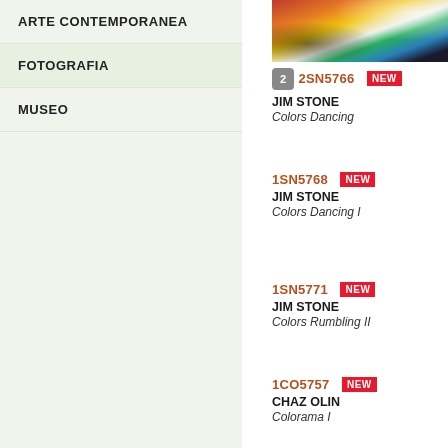ARTE CONTEMPORANEA
FOTOGRAFIA
MUSEO
[Figure (photo): Colorful abstract painting with reds, oranges, whites, greens, and blacks]
2  2SN5766  NEW
JIM STONE
Colors Dancing
1SN5768  NEW
JIM STONE
Colors Dancing I
1SN5771  NEW
JIM STONE
Colors Rumbling II
1CO5757  NEW
CHAZ OLIN
Colorama I